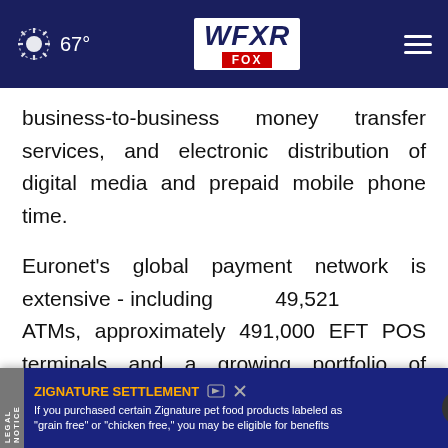[Figure (screenshot): WFXR Fox News navigation bar with weather showing 67°, WFXR FOX logo in center, and hamburger menu icon on right, on dark navy background]
business-to-business money transfer services, and electronic distribution of digital media and prepaid mobile phone time.
Euronet's global payment network is extensive - including 49,521 ATMs, approximately 491,000 EFT POS terminals and a growing portfolio of outsourced debit and credit card services which are under management in 62 countries; card software solutions... network of approximately 760,000 POS terminals at
[Figure (screenshot): Advertisement banner: ZIGNATURE SETTLEMENT - If you purchased certain Zignature pet food products labeled as 'grain free' or 'chicken free,' you may be eligible for benefits. Has legal notice tab on left, close X button overlapping.]